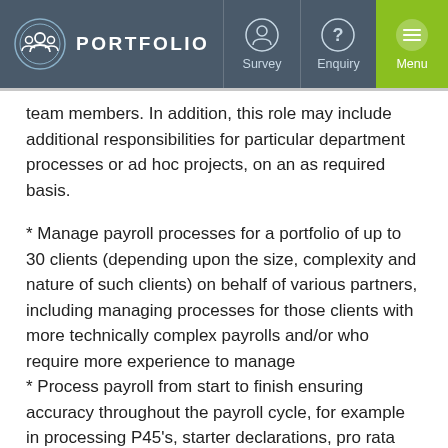PORTFOLIO | Survey | Enquiry | Menu
team members. In addition, this role may include additional responsibilities for particular department processes or ad hoc projects, on an as required basis.
* Manage payroll processes for a portfolio of up to 30 clients (depending upon the size, complexity and nature of such clients) on behalf of various partners, including managing processes for those clients with more technically complex payrolls and/or who require more experience to manage
* Process payroll from start to finish ensuring accuracy throughout the payroll cycle, for example in processing P45's, starter declarations, pro rata calculations etc
* Process statutory payments and deductions as well as considering and updating information to incorporate